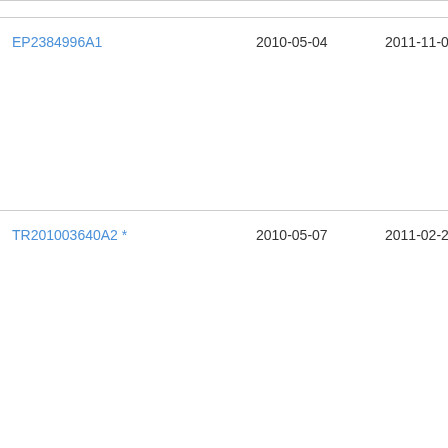| Patent Number | Filing Date | Publication Date | Assignee |
| --- | --- | --- | --- |
| EP2384996A1 | 2010-05-04 | 2011-11-09 | Lun Sys |
| TR201003640A2 * | 2010-05-07 | 2011-02-21 | She Ve L◆ ◆◄ |
| USD647398S1 | 2010-09-02 | 2011-10-25 | Ke |
| USD647399S1 | 2010-09-02 | 2011-10-25 | Ke |
| USD637484S1 | 2010-09-02 | 2011-05-10 | Ke |